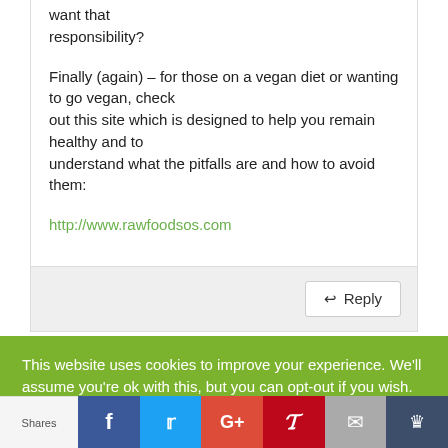want that responsibility?
Finally (again) – for those on a vegan diet or wanting to go vegan, check out this site which is designed to help you remain healthy and to understand what the pitfalls are and how to avoid them:

http://www.rawfoodsos.com
Reply
This website uses cookies to improve your experience. We'll assume you're ok with this, but you can opt-out if you wish.
Yes, I'm happy with it
Shares